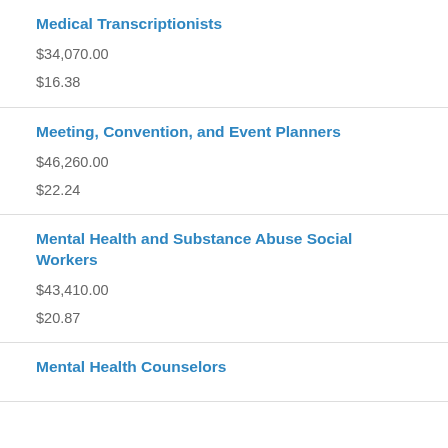Medical Transcriptionists
$34,070.00
$16.38
Meeting, Convention, and Event Planners
$46,260.00
$22.24
Mental Health and Substance Abuse Social Workers
$43,410.00
$20.87
Mental Health Counselors